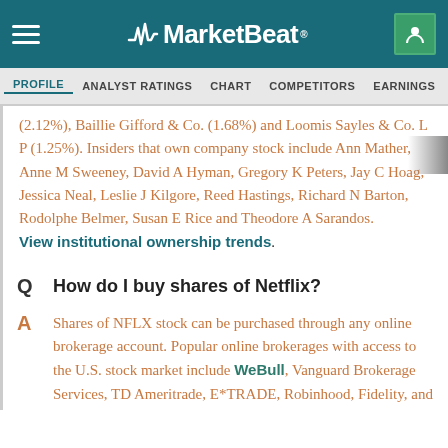MarketBeat
PROFILE  ANALYST RATINGS  CHART  COMPETITORS  EARNINGS  FINANCIALS
(2.12%), Baillie Gifford & Co. (1.68%) and Loomis Sayles & Co. L P (1.25%). Insiders that own company stock include Ann Mather, Anne M Sweeney, David A Hyman, Gregory K Peters, Jay C Hoag, Jessica Neal, Leslie J Kilgore, Reed Hastings, Richard N Barton, Rodolphe Belmer, Susan E Rice and Theodore A Sarandos. View institutional ownership trends.
Q  How do I buy shares of Netflix?
A  Shares of NFLX stock can be purchased through any online brokerage account. Popular online brokerages with access to the U.S. stock market include WeBull, Vanguard Brokerage Services, TD Ameritrade, E*TRADE, Robinhood, Fidelity, and